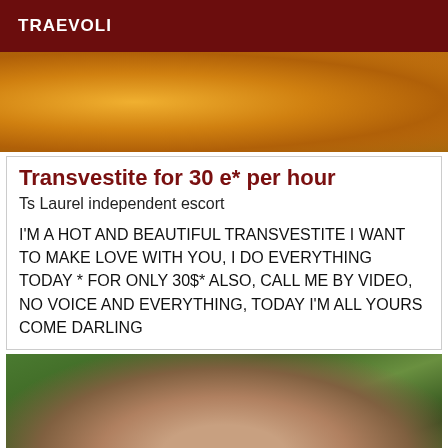TRAEVOLI
[Figure (photo): Close-up photo of person in orange/yellow clothing]
Transvestite for 30 e* per hour
Ts Laurel independent escort
I'M A HOT AND BEAUTIFUL TRANSVESTITE I WANT TO MAKE LOVE WITH YOU, I DO EVERYTHING TODAY * FOR ONLY 30$* ALSO, CALL ME BY VIDEO, NO VOICE AND EVERYTHING, TODAY I'M ALL YOURS COME DARLING
[Figure (photo): Person standing outdoors in a tropical garden setting with trees and green foliage]